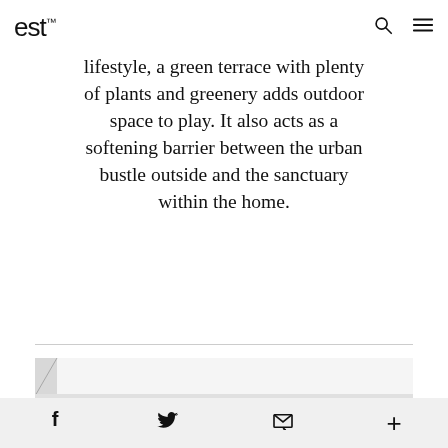est
lifestyle, a green terrace with plenty of plants and greenery adds outdoor space to play. It also acts as a softening barrier between the urban bustle outside and the sanctuary within the home.
[Figure (photo): Interior room with white ceiling, white walls, and a row of rectangular windows along the lower portion of the wall. Room appears bright and minimalist.]
f  twitter  email  +